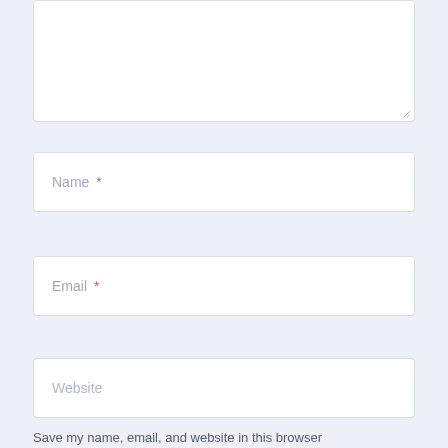[Figure (screenshot): A comment form with a textarea (partially visible at top), followed by Name, Email, and Website input fields on a light blue-gray background. Each text field has a white background with a light border and placeholder text. Name and Email fields show a red asterisk indicating required fields.]
Save my name, email, and website in this browser